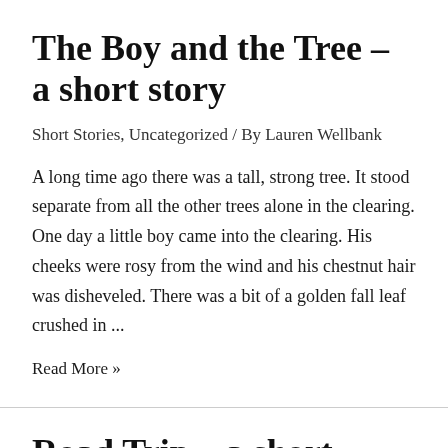The Boy and the Tree – a short story
Short Stories, Uncategorized / By Lauren Wellbank
A long time ago there was a tall, strong tree.  It stood separate from all the other trees alone in the clearing.  One day a little boy came into the clearing.  His cheeks were rosy from the wind and his chestnut hair was disheveled.  There was a bit of a golden fall leaf crushed in ...
Read More »
Road Trip – a short story